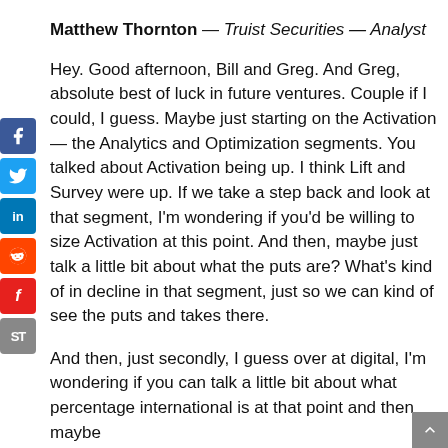Matthew Thornton — Truist Securities — Analyst
Hey. Good afternoon, Bill and Greg. And Greg, absolute best of luck in future ventures. Couple if I could, I guess. Maybe just starting on the Activation — the Analytics and Optimization segments. You talked about Activation being up. I think Lift and Survey were up. If we take a step back and look at that segment, I'm wondering if you'd be willing to size Activation at this point. And then, maybe just talk a little bit about what the puts are? What's kind of in decline in that segment, just so we can kind of see the puts and takes there.
And then, just secondly, I guess over at digital, I'm wondering if you can talk a little bit about what percentage international is at that point and then maybe